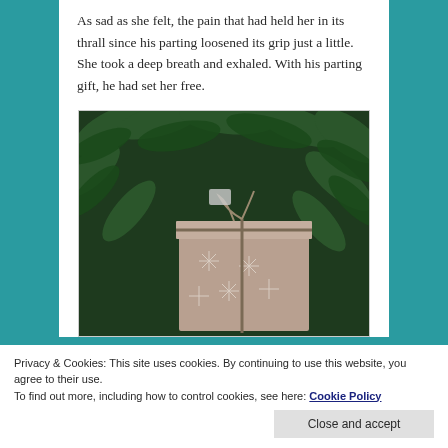As sad as she felt, the pain that had held her in its thrall since his parting loosened its grip just a little. She took a deep breath and exhaled. With his parting gift, he had set her free.
[Figure (photo): A wrapped gift with snowflake pattern paper and twine bow, surrounded by dark green pine/fir branches.]
Privacy & Cookies: This site uses cookies. By continuing to use this website, you agree to their use.
To find out more, including how to control cookies, see here: Cookie Policy
Close and accept